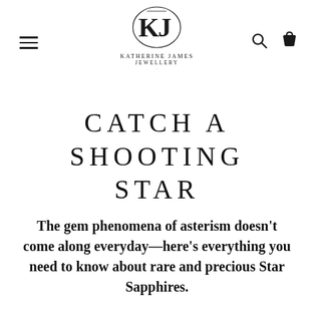[Figure (logo): KJ monogram logo for Katherine James Jewellery — stylized K and J letters intertwined in a serif style]
KATHERINE JAMES
JEWELLERY
CATCH A SHOOTING STAR
The gem phenomena of asterism doesn't come along everyday—here's everything you need to know about rare and precious Star Sapphires.